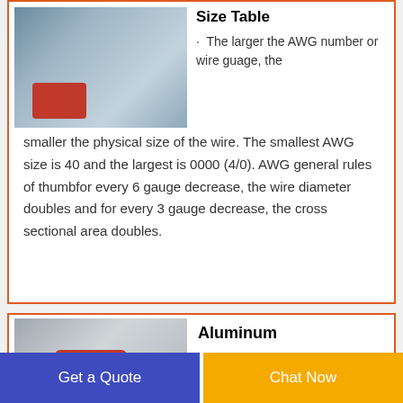[Figure (photo): Industrial wire/cable machine photo in top card]
Size Table
· The larger the AWG number or wire guage, the smaller the physical size of the wire. The smallest AWG size is 40 and the largest is 0000 (4/0). AWG general rules of thumbfor every 6 gauge decrease, the wire diameter doubles and for every 3 gauge decrease, the cross sectional area doubles.
[Figure (photo): Industrial aluminum wire machine photo in bottom card]
Aluminum
Get a Quote
Chat Now